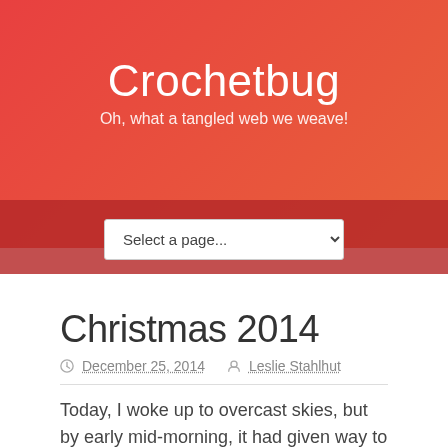Crochetbug
Oh, what a tangled web we weave!
Christmas 2014
December 25, 2014   Leslie Stahlhut
Today, I woke up to overcast skies, but by early mid-morning, it had given way to this: